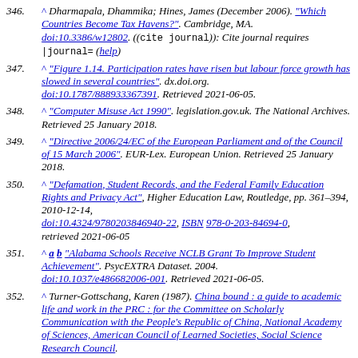346. ^ Dharmapala, Dhammika; Hines, James (December 2006). "Which Countries Become Tax Havens?". Cambridge, MA. doi:10.3386/w12802. ((cite journal)): Cite journal requires |journal= (help)
347. ^ "Figure 1.14. Participation rates have risen but labour force growth has slowed in several countries". dx.doi.org. doi:10.1787/888933367391. Retrieved 2021-06-05.
348. ^ "Computer Misuse Act 1990". legislation.gov.uk. The National Archives. Retrieved 25 January 2018.
349. ^ "Directive 2006/24/EC of the European Parliament and of the Council of 15 March 2006". EUR-Lex. European Union. Retrieved 25 January 2018.
350. ^ "Defamation, Student Records, and the Federal Family Education Rights and Privacy Act", Higher Education Law, Routledge, pp. 361-394, 2010-12-14, doi:10.4324/9780203846940-22, ISBN 978-0-203-84694-0, retrieved 2021-06-05
351. ^ a b "Alabama Schools Receive NCLB Grant To Improve Student Achievement". PsycEXTRA Dataset. 2004. doi:10.1037/e486682006-001. Retrieved 2021-06-05.
352. ^ Turner-Gottschang, Karen (1987). China bound : a guide to academic life and work in the PRC : for the Committee on Scholarly Communication with the People's Republic of China, National Academy of Sciences, American Council of Learned Societies, Social Science Research Council.